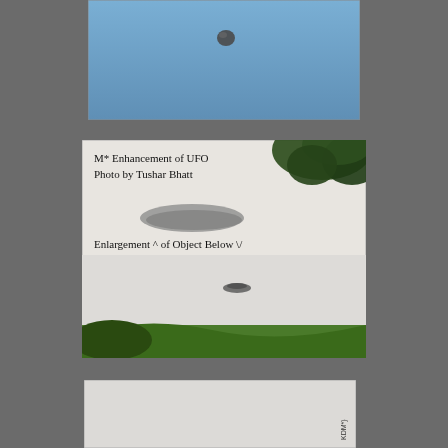[Figure (photo): Photo of a small dark spherical UFO object against a blue sky background.]
[Figure (photo): M* Enhancement of UFO Photo by Tushar Bhatt. Shows an enlarged blurry disc-shaped object at top, with text 'Enlargement ^ of Object Below V', and smaller object visible lower in sky above grassy hillside with trees.]
[Figure (photo): Partial bottom photo, mostly light/white sky, partially visible, appears to have rotated text on right edge.]